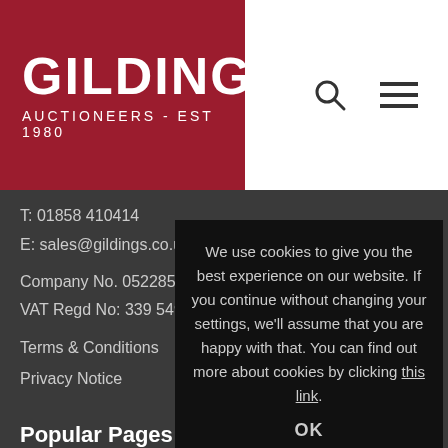[Figure (logo): Gildings Auctioneers logo — white text on dark red background. Large 'GILDINGS' with subtitle 'AUCTIONEERS - EST 1980']
Search and menu icons in header
T: 01858 410414
E: sales@gildings.co.uk
Company No. 05228508
VAT Regd No: 339 5491 25
Terms & Conditions
Privacy Notice
Popular Pages
20th Century Decorative Art & Design
Asian Art
Fine Art & Antiques
Jewellery
We use cookies to give you the best experience on our website. If you continue without changing your settings, we'll assume that you are happy with that. You can find out more about cookies by clicking this link.
OK